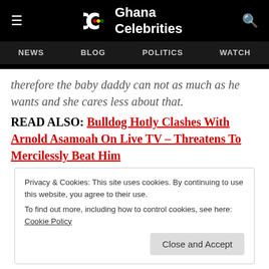Ghana Celebrities — NEWS | BLOG | POLITICS | WATCH
therefore the baby daddy can call as much as he wants and she cares less about that.
READ ALSO: Bulldog Hotly Clashes With Arnold Asamoah On Live TV – Threatens To Mercilessly Beat Him
Privacy & Cookies: This site uses cookies. By continuing to use this website, you agree to their use.
To find out more, including how to control cookies, see here: Cookie Policy
Close and Accept